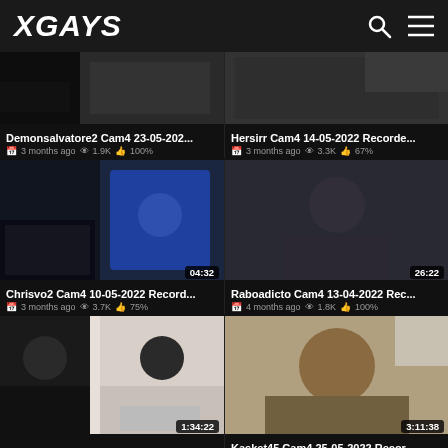XGAYS
[Figure (screenshot): Video thumbnail top-left: Demonsalvatore2 Cam4 recording]
Demonsalvatore2 Cam4 23-05-202...
3 months ago   1.9K   100%
[Figure (screenshot): Video thumbnail top-right: Hersirr Cam4 recording]
Hersirr Cam4 14-05-2022 Recorde...
3 months ago   3.3K   67%
[Figure (screenshot): Video thumbnail: Chrisvo2 Cam4 recording, duration 04:32]
Chrisvo2 Cam4 10-05-2022 Record...
3 months ago   3.7K   75%
[Figure (screenshot): Video thumbnail: Raboadicto Cam4 recording, duration 26:22]
Raboadicto Cam4 13-04-2022 Rec...
4 months ago   1.8K   100%
[Figure (screenshot): Video thumbnail bottom-left: duration 1:34:22]
[Figure (screenshot): Video thumbnail bottom-right: Kasket45 Cam4 recording, duration 3:11:38]
Kasket45 Cam4 25-05-2022 Recor...